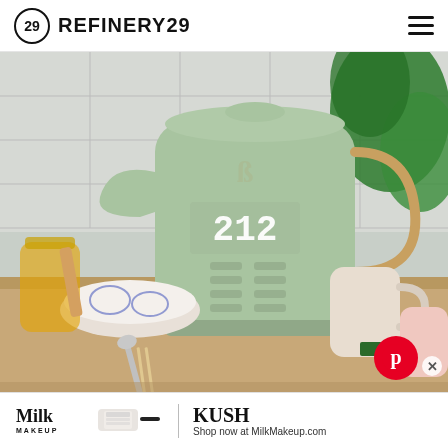REFINERY29
[Figure (photo): A sage green electric kettle with digital display showing 212, branded with a stylized B logo, sitting on a wooden countertop alongside a ceramic bowl, jar of honey, chopsticks, spoon, and ceramic mugs, with a green plant in the background and white subway tile wall.]
[Figure (logo): Pinterest round red button with white P logo]
Milk MAKEUP
KUSH Shop now at MilkMakeup.com